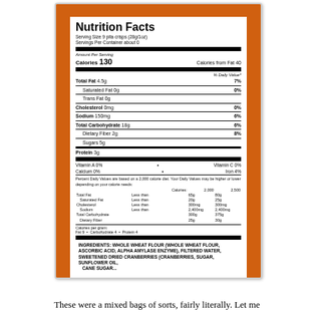[Figure (photo): Photograph of an orange snack bag showing a Nutrition Facts label for pita crisps. The label shows serving size 9 pita crisps (28g/1oz), servings per container about 0, 130 calories, 40 calories from fat, Total Fat 4.5g 7%, Saturated Fat 0g 0%, Trans Fat 0g, Cholesterol 0mg 0%, Sodium 150mg 6%, Total Carbohydrate 18g 6%, Dietary Fiber 2g 8%, Sugars 5g, Protein 3g. Vitamins: A 0%, C 0%, Calcium 0%, Iron 4%. Ingredients include whole wheat flour, ascorbic acid, alpha amylase enzyme, filtered water, sweetened dried cranberries, sugar, sunflower oil.]
These were a mixed bags of sorts, fairly literally. Let me